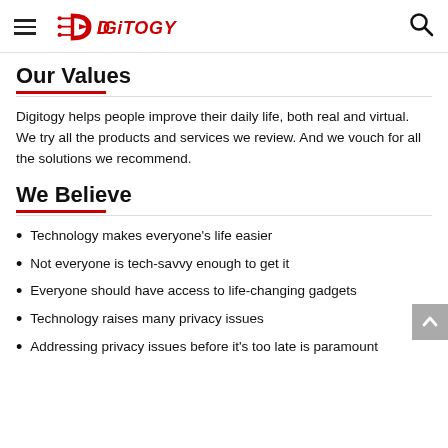Digitogy
Our Values
Digitogy helps people improve their daily life, both real and virtual. We try all the products and services we review. And we vouch for all the solutions we recommend.
We Believe
Technology makes everyone’s life easier
Not everyone is tech-savvy enough to get it
Everyone should have access to life-changing gadgets
Technology raises many privacy issues
Addressing privacy issues before it’s too late is paramount